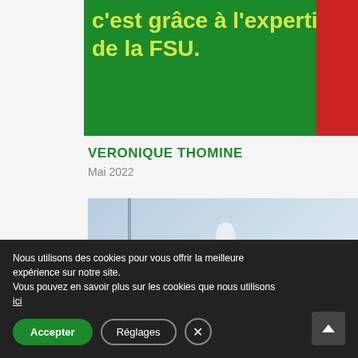[Figure (illustration): Green banner with yellow bold text partially visible: 'c'est grâce à l'expertise de la FSU.' with a red vertical strip on the right side.]
VERONIQUE THOMINE
Mai 2022
[Figure (photo): Blurred photo of glass door/corridor in light blue-grey tones with a solid blue vertical strip on the right.]
Nous utilisons des cookies pour vous offrir la meilleure expérience sur notre site.
Vous pouvez en savoir plus sur les cookies que nous utilisons ici
Accepter
Réglages